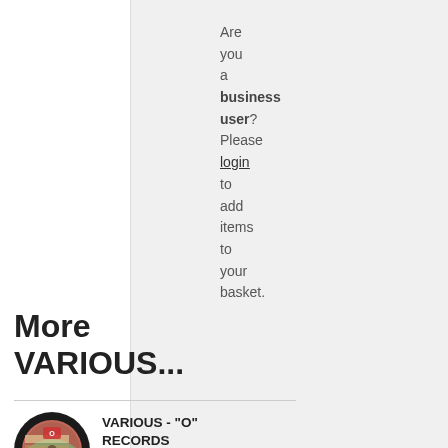Are you a business user? Please login to add items to your basket.
More VARIOUS...
VARIOUS - "O" RECORDS CLASSICS VOLUME 1